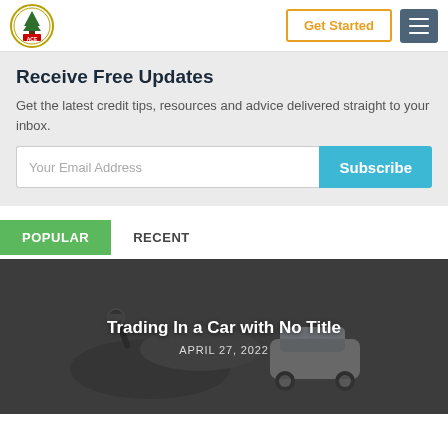Get Started | Navigation
Receive Free Updates
Get the latest credit tips, resources and advice delivered straight to your inbox.
Your Email Address | Subscribe
POPULAR | RECENT
[Figure (photo): Hands holding car keys with a small toy car in the background, dark overlay]
Trading In a Car with No Title
APRIL 27, 2022